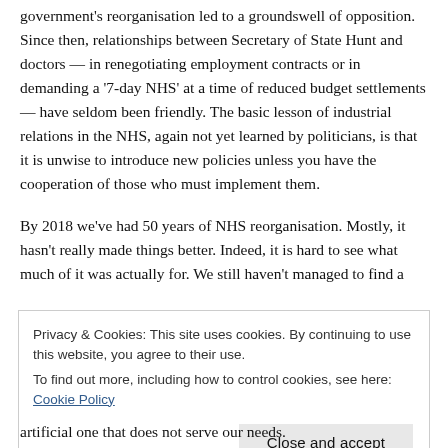government's reorganisation led to a groundswell of opposition. Since then, relationships between Secretary of State Hunt and doctors — in renegotiating employment contracts or in demanding a '7-day NHS' at a time of reduced budget settlements — have seldom been friendly. The basic lesson of industrial relations in the NHS, again not yet learned by politicians, is that it is unwise to introduce new policies unless you have the cooperation of those who must implement them.
By 2018 we've had 50 years of NHS reorganisation. Mostly, it hasn't really made things better. Indeed, it is hard to see what much of it was actually for. We still haven't managed to find a
Privacy & Cookies: This site uses cookies. By continuing to use this website, you agree to their use. To find out more, including how to control cookies, see here: Cookie Policy
artificial one that does not serve our needs.